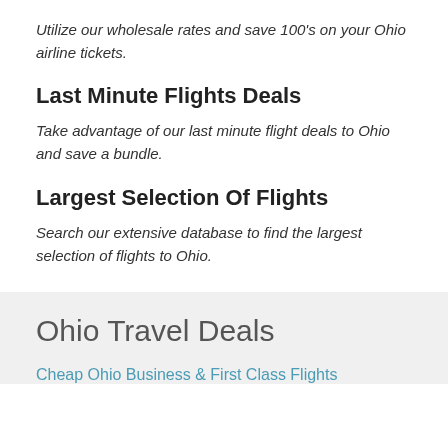Utilize our wholesale rates and save 100's on your Ohio airline tickets.
Last Minute Flights Deals
Take advantage of our last minute flight deals to Ohio and save a bundle.
Largest Selection Of Flights
Search our extensive database to find the largest selection of flights to Ohio.
Ohio Travel Deals
Cheap Ohio Business & First Class Flights